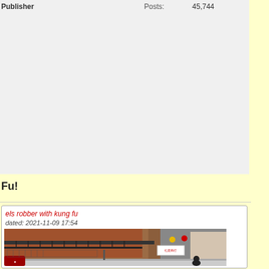Publisher
Posts: 45,744
Fu!
els robber with kung fu
dated: 2021-11-09 17:54
[Figure (photo): Street scene in China showing brick buildings with metal balconies and fire escapes, storefronts with Chinese signage, and a pedestrian silhouette]